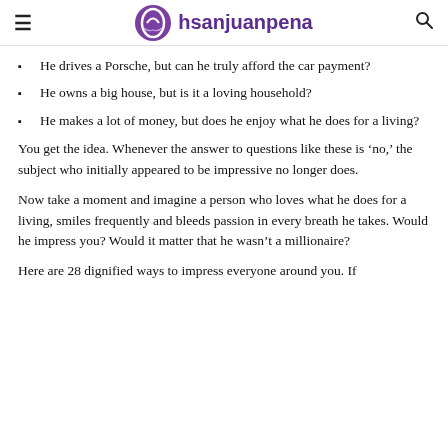hsanjuanpena
He drives a Porsche, but can he truly afford the car payment?
He owns a big house, but is it a loving household?
He makes a lot of money, but does he enjoy what he does for a living?
You get the idea. Whenever the answer to questions like these is ‘no,’ the subject who initially appeared to be impressive no longer does.
Now take a moment and imagine a person who loves what he does for a living, smiles frequently and bleeds passion in every breath he takes. Would he impress you? Would it matter that he wasn’t a millionaire?
Here are 28 dignified ways to impress everyone around you. If